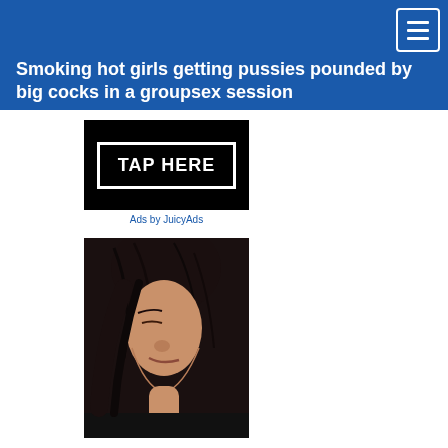Smoking hot girls getting pussies pounded by big cocks in a groupsex session
[Figure (other): Advertisement banner with black background and white text reading TAP HERE inside a rectangle border]
Ads by JuicyAds
[Figure (photo): Photo of a woman with dark hair looking downward]